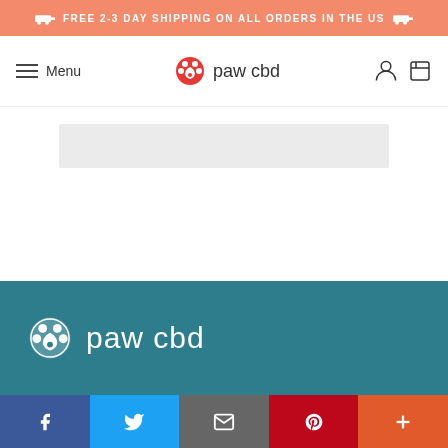FREE 2-3 DAY SHIPPING ON ALL ORDERS IN THE US
[Figure (logo): Paw CBD logo with hamburger menu and nav icons in white navbar]
[Figure (screenshot): Gray placeholder content box]
[Figure (logo): Paw CBD white logo on dark teal footer background]
Social sharing bar with Facebook, Twitter, Email, Pinterest, and More buttons